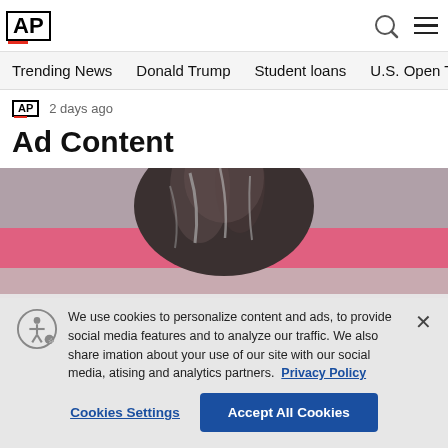AP
Trending News | Donald Trump | Student loans | U.S. Open Tenn
AP  2 days ago
Ad Content
[Figure (photo): Top-down view of a person's head with dark hair, pink background]
We use cookies to personalize content and ads, to provide social media features and to analyze our traffic. We also share information about your use of our site with our social media, advertising and analytics partners. Privacy Policy
Cookies Settings    Accept All Cookies